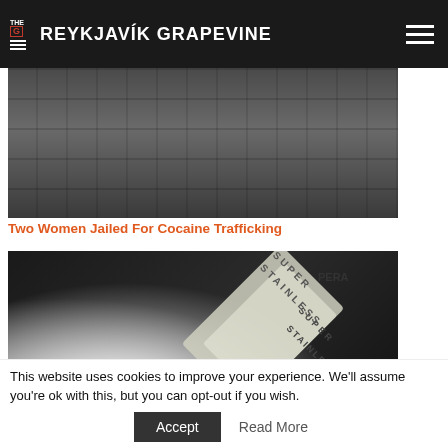THE G REYKJAVÍK GRAPEVINE
[Figure (photo): Partial view of a dark-colored building exterior with stone tile facade, photographed from street level]
Two Women Jailed For Cocaine Trafficking
[Figure (photo): Close-up photo of lines of white powder (cocaine) on a dark surface with a razor blade and a rolled bill, suggesting drug use]
This website uses cookies to improve your experience. We'll assume you're ok with this, but you can opt-out if you wish.
Accept
Read More